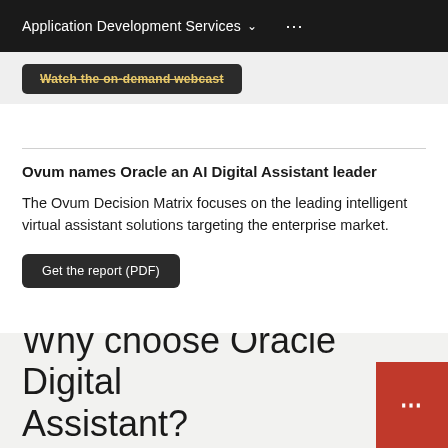Application Development Services
Watch the on-demand webcast
Ovum names Oracle an AI Digital Assistant leader
The Ovum Decision Matrix focuses on the leading intelligent virtual assistant solutions targeting the enterprise market.
Get the report (PDF)
Why choose Oracle Digital Assistant?